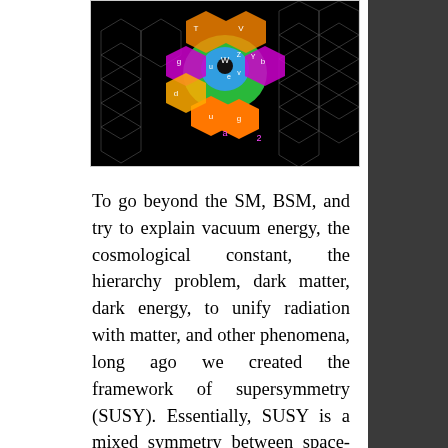[Figure (illustration): Colorful particle physics diagram on black background showing circular arrangement of colored hexagonal/pentagonal shapes representing Standard Model particles including quarks and leptons labeled with letters, arranged in green, orange, magenta, blue, and other colors]
To go beyond the SM, BSM, and try to explain vacuum energy, the cosmological constant, the hierarchy problem, dark matter, dark energy, to unify radiation with matter, and other phenomena, long ago we created the framework of supersymmetry (SUSY). Essentially, SUSY is a mixed symmetry between space-time symmetries and internal symmetries. SUSY generators are spinorial (anticommuting c-